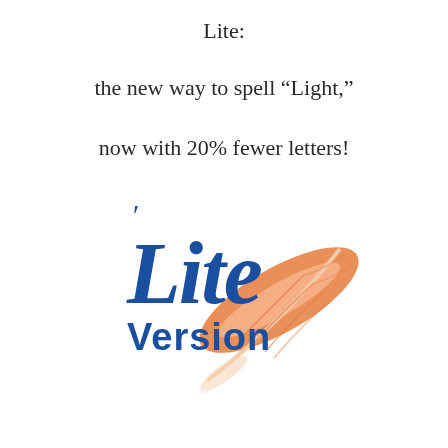Lite:
the new way to spell “Light,”
now with 20% fewer letters!
[Figure (logo): Lite Version logo: 'Lite' in large blue italic script with an apostrophe, 'Version' in bold blue sans-serif below, and an orange feather/quill graphic to the right]